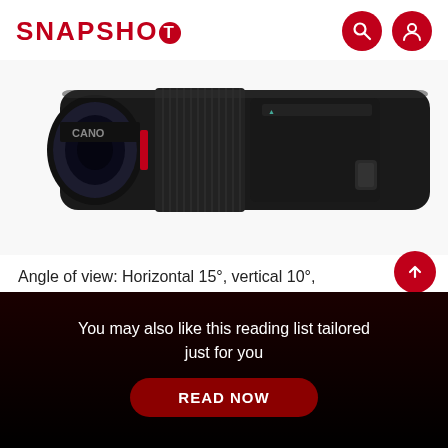SNAPSHOT
[Figure (photo): Close-up photo of a Canon tilt-shift telephoto lens, black with red ring, shown from the side against a white background.]
Angle of view: Horizontal 15°, vertical 10°, diagonal 18°, 28° with shift.
Tilt range: ±10°; Shift range: ±12mm
Minimum aperture: f/45
Minimum shooting distance: 0.49m
You may also like this reading list tailored just for you
READ NOW